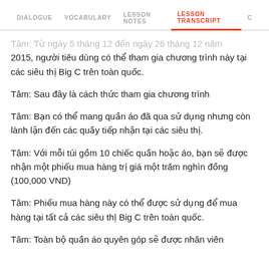DIALOGUE | VOCABULARY | LESSON NOTES | LESSON TRANSCRIPT | C
Tâm: Từ ngày 5 tháng 12 đến ngày 26 tháng 12 năm 2015, người tiêu dùng có thể tham gia chương trình này tại các siêu thị Big C trên toàn quốc.
Tâm: Sau đây là cách thức tham gia chương trình
Tâm: Bạn có thể mang quần áo đã qua sử dụng nhưng còn lành lặn đến các quầy tiếp nhận tại các siêu thị.
Tâm: Với mỗi túi gồm 10 chiếc quần hoặc áo, bạn sẽ được nhận một phiếu mua hàng trị giá một trăm nghìn đồng (100,000 VND)
Tâm: Phiếu mua hàng này có thể được sử dụng để mua hàng tại tất cả các siêu thị Big C trên toàn quốc.
Tâm: Toàn bộ quần áo quyên góp sẽ được nhân viên